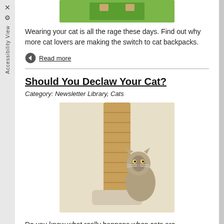[Figure (photo): Cat in a green backpack/carrier, top portion visible]
Wearing your cat is all the rage these days. Find out why more cat lovers are making the switch to cat backpacks.
Read more
Should You Declaw Your Cat?
Category: Newsletter Library, Cats
[Figure (photo): A kitten peeking around a sisal cat scratching post]
Do you know what really happens when cats are declawed?
Read more